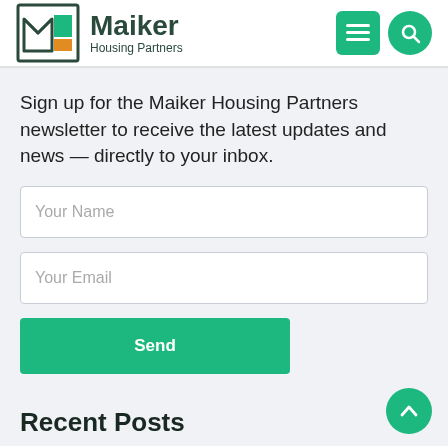[Figure (logo): Maiker Housing Partners logo with stylized M icon in dark green, teal, and orange colors]
Sign up for the Maiker Housing Partners newsletter to receive the latest updates and news — directly to your inbox.
Your Name
Your Email
Send
Recent Posts